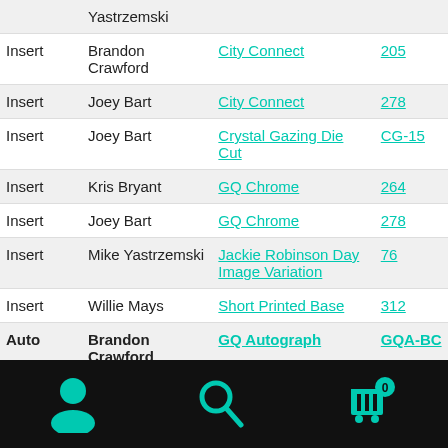| Type | Player | Set | Number |
| --- | --- | --- | --- |
|  | Yastrzemski |  |  |
| Insert | Brandon Crawford | City Connect | 205 |
| Insert | Joey Bart | City Connect | 278 |
| Insert | Joey Bart | Crystal Gazing Die Cut | CG-15 |
| Insert | Kris Bryant | GQ Chrome | 264 |
| Insert | Joey Bart | GQ Chrome | 278 |
| Insert | Mike Yastrzemski | Jackie Robinson Day Image Variation | 76 |
| Insert | Willie Mays | Short Printed Base | 312 |
| Auto | Brandon Crawford | GQ Autograph | GQA-BC |
| Auto | Joey Bart | Astrological Chrome Autograph | ACA-JB |
[Figure (infographic): Bottom navigation bar with teal user icon, search icon, and cart icon with badge showing 0]